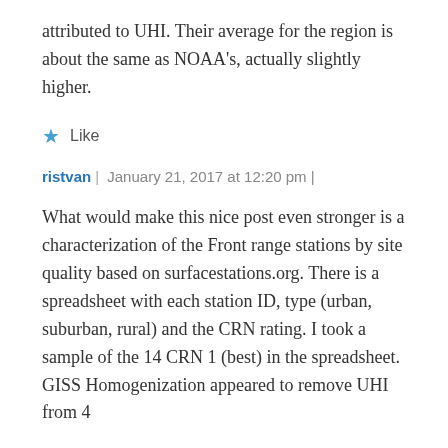attributed to UHI. Their average for the region is about the same as NOAA's, actually slightly higher.
Like
ristvan | January 21, 2017 at 12:20 pm |
What would make this nice post even stronger is a characterization of the Front range stations by site quality based on surfacestations.org. There is a spreadsheet with each station ID, type (urban, suburban, rural) and the CRN rating. I took a sample of the 14 CRN 1 (best) in the spreadsheet. GISS Homogenization appeared to remove UHI from 4